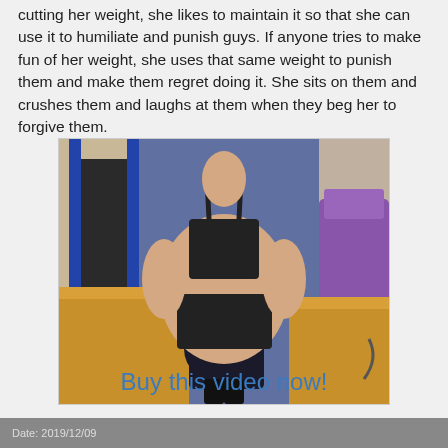cutting her weight, she likes to maintain it so that she can use it to humiliate and punish guys. If anyone tries to make fun of her weight, she uses that same weight to punish them and make them regret doing it. She sits on them and crushes them and laughs at them when they beg her to forgive them.
[Figure (photo): A large woman in a black swimsuit sitting on a man in a carpeted conference room, with wooden tables and a purple chair visible.]
Buy this video now!
Date: 2019/12/09